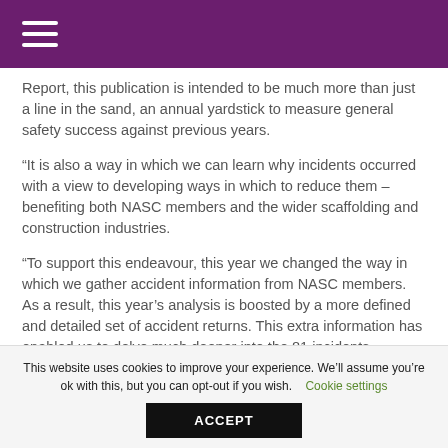≡
Report, this publication is intended to be much more than just a line in the sand, an annual yardstick to measure general safety success against previous years.
“It is also a way in which we can learn why incidents occurred with a view to developing ways in which to reduce them – benefiting both NASC members and the wider scaffolding and construction industries.
“To support this endeavour, this year we changed the way in which we gather accident information from NASC members. As a result, this year’s analysis is boosted by a more defined and detailed set of accident returns. This extra information has enabled us to delve much deeper into the 81 incidents reported, identifying potential causes
This website uses cookies to improve your experience. We’ll assume you’re ok with this, but you can opt-out if you wish.   Cookie settings
ACCEPT